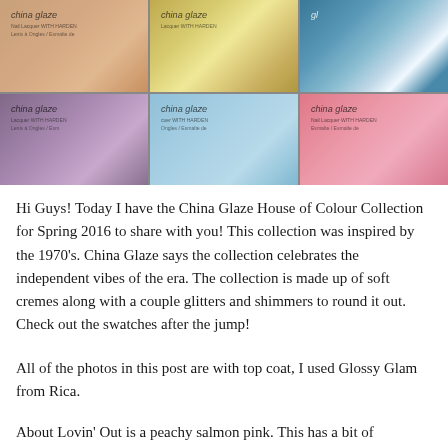[Figure (photo): A 3x2 grid of China Glaze nail polish bottle and nail swatch photos showing various colors: nude/peach, gold glitter, blue glitter/white, purple/mauve shimmer, light blue, and pink/salmon]
Hi Guys! Today I have the China Glaze House of Colour Collection for Spring 2016 to share with you! This collection was inspired by the 1970's. China Glaze says the collection celebrates the independent vibes of the era. The collection is made up of soft cremes along with a couple glitters and shimmers to round it out. Check out the swatches after the jump!
All of the photos in this post are with top coat, I used Glossy Glam from Rica.
About Lovin' Out is a peachy salmon pink. This has a bit of